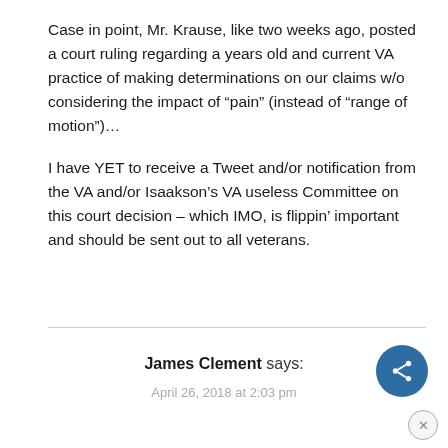Case in point, Mr. Krause, like two weeks ago, posted a court ruling regarding a years old and current VA practice of making determinations on our claims w/o considering the impact of “pain” (instead of “range of motion”)…
I have YET to receive a Tweet and/or notification from the VA and/or Isaakson’s VA useless Committee on this court decision – which IMO, is flippin’ important and should be sent out to all veterans.
James Clement says:
April 26, 2018 at 2:03 pm